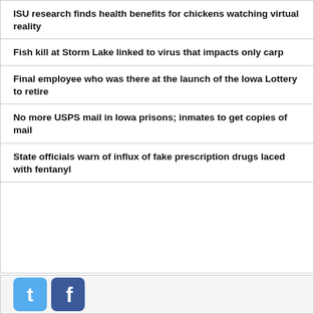ISU research finds health benefits for chickens watching virtual reality
Fish kill at Storm Lake linked to virus that impacts only carp
Final employee who was there at the launch of the Iowa Lottery to retire
No more USPS mail in Iowa prisons; inmates to get copies of mail
State officials warn of influx of fake prescription drugs laced with fentanyl
[Figure (logo): Twitter and Facebook social media icons at bottom of page]